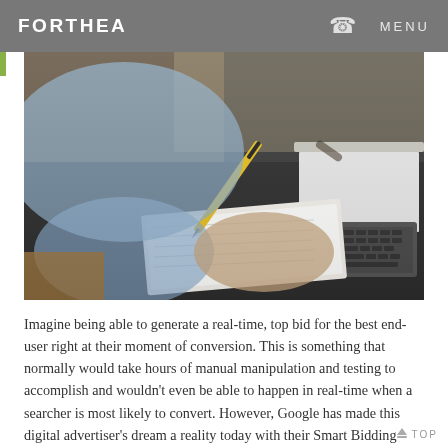FORTHEA   MENU
[Figure (photo): Close-up photo of a person's hands writing in a notepad with a yellow pen on a dark desk, with a laptop keyboard visible in the background and a light blue shirt on the person.]
Imagine being able to generate a real-time, top bid for the best end-user right at their moment of conversion. This is something that normally would take hours of manual manipulation and testing to accomplish and wouldn’t even be able to happen in real-time when a searcher is most likely to convert. However, Google has made this digital advertiser’s dream a reality today with their Smart Bidding